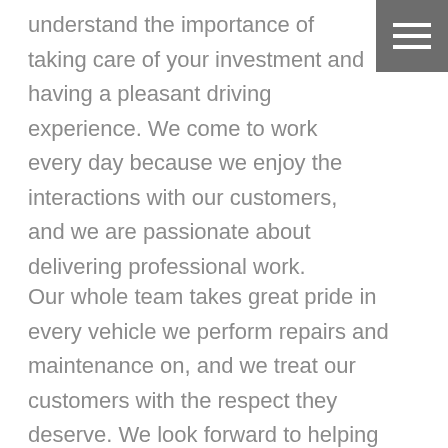understand the importance of taking care of your investment and having a pleasant driving experience. We come to work every day because we enjoy the interactions with our customers, and we are passionate about delivering professional work.
Our whole team takes great pride in every vehicle we perform repairs and maintenance on, and we treat our customers with the respect they deserve. We look forward to helping you with the needs of your Honda vehicle. Call our auto repair center today for your next repair or service!